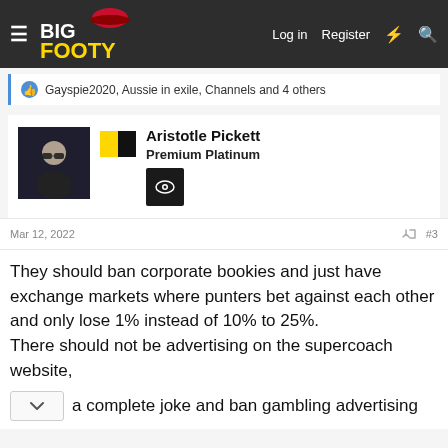BigFooty — Log in  Register
Gayspie2020, Aussie in exile, Channels and 4 others
Aristotle Pickett
Premium Platinum
Mar 12, 2022  #3
They should ban corporate bookies and just have exchange markets where punters bet against each other and only lose 1% instead of 10% to 25%.
There should not be advertising on the supercoach website, a complete joke and ban gambling advertising